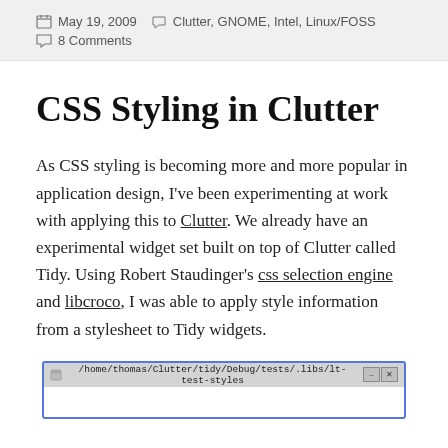May 19, 2009   Clutter, GNOME, Intel, Linux/FOSS   8 Comments
CSS Styling in Clutter
As CSS styling is becoming more and more popular in application design, I've been experimenting at work with applying this to Clutter. We already have an experimental widget set built on top of Clutter called Tidy. Using Robert Staudinger's css selection engine and libcroco, I was able to apply style information from a stylesheet to Tidy widgets.
[Figure (screenshot): Terminal/application window screenshot showing path /home/thomas/Clutter/tidy/Debug/tests/.libs/lt-test-styles with minimize and close buttons]